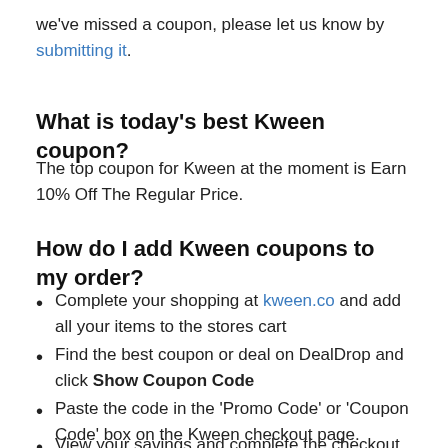we've missed a coupon, please let us know by submitting it.
What is today's best Kween coupon?
The top coupon for Kween at the moment is Earn 10% Off The Regular Price.
How do I add Kween coupons to my order?
Complete your shopping at kween.co and add all your items to the stores cart
Find the best coupon or deal on DealDrop and click Show Coupon Code
Paste the code in the 'Promo Code' or 'Coupon Code' box on the Kween checkout page.
View your savings and complete the checkout